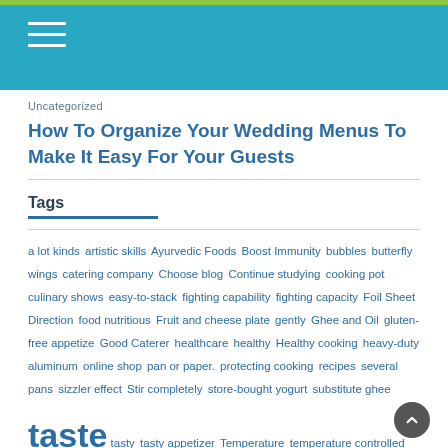Uncategorized
How To Organize Your Wedding Menus To Make It Easy For Your Guests
Tags
a lot kinds artistic skills Ayurvedic Foods Boost Immunity bubbles butterfly wings catering company Choose blog Continue studying cooking pot culinary shows easy-to-stack fighting capability fighting capacity Foil Sheet Direction food nutritious Fruit and cheese plate gently Ghee and Oil gluten-free appetize Good Caterer healthcare healthy Healthy cooking heavy-duty aluminum online shop pan or paper. protecting cooking recipes several pans sizzler effect Stir completely store-bought yogurt substitute ghee taste tasty tasty appetizer Temperature temperature controlled The